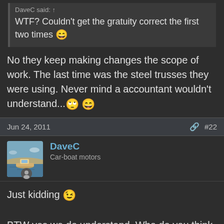DaveC said:
WTF? Couldn't get the gratuity correct the first two times 😄
No they keep making changes the scope of work. The last time was the steel trusses they were using. Never mind a accountant wouldn't understand... 🙄 😄
Jun 24, 2011  #22
DaveC
Car-boat motors
Just kidding 😉
BTW yes we do understand. Who do you think adds up all the change orders and applies them to jobs and COGS? 😄